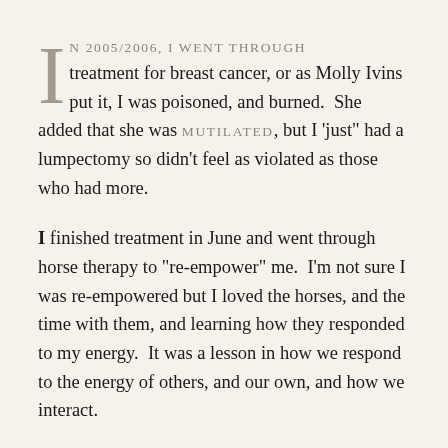IN 2005/2006, I WENT THROUGH treatment for breast cancer, or as Molly Ivins put it, I was poisoned, and burned. She added that she was MUTILATED, but I 'just" had a lumpectomy so didn't feel as violated as those who had more.
I finished treatment in June and went through horse therapy to "re-empower" me. I'm not sure I was re-empowered but I loved the horses, and the time with them, and learning how they responded to my energy. It was a lesson in how we respond to the energy of others, and our own, and how we interact.